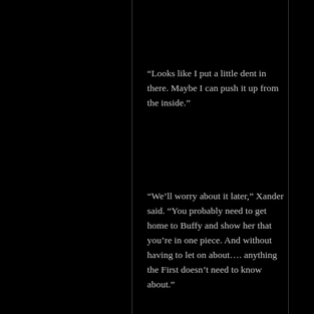“Looks like I put a little dent in there. Maybe I can push it up from the inside.”
“We’ll worry about it later,” Xander said. “You probably need to get home to Buffy and show her that you’re in one piece. And without having to let on about…. anything the First doesn’t need to know about.”